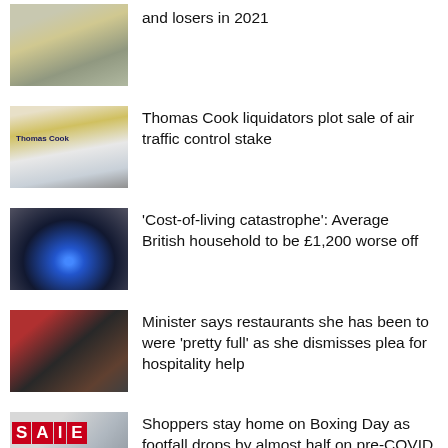and losers in 2021
Thomas Cook liquidators plot sale of air traffic control stake
'Cost-of-living catastrophe': Average British household to be £1,200 worse off
Minister says restaurants she has been to were 'pretty full' as she dismisses plea for hospitality help
Shoppers stay home on Boxing Day as footfall drops by almost half on pre-COVID levels
Business secretary to hold crunch talks with